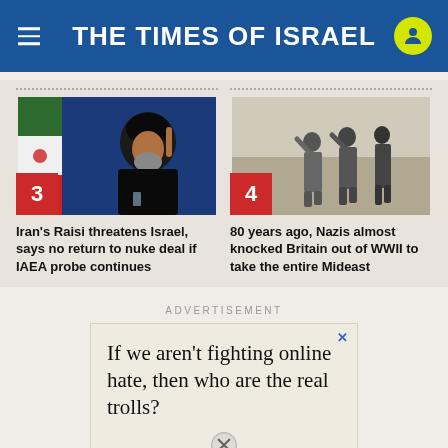THE TIMES OF ISRAEL
[Figure (photo): Iran's President Raisi at a podium, Iranian flag in background, pointing upward]
Iran's Raisi threatens Israel, says no return to nuke deal if IAEA probe continues
[Figure (photo): Black and white historical WWII photo of soldiers in desert]
80 years ago, Nazis almost knocked Britain out of WWII to take the entire Mideast
ADVERTISEMENT
[Figure (other): Advertisement box reading: If we aren't fighting online hate, then who are the real trolls?]